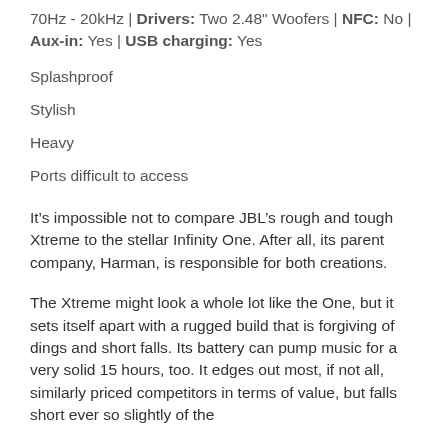70Hz - 20kHz | Drivers: Two 2.48" Woofers | NFC: No | Aux-in: Yes | USB charging: Yes
Splashproof
Stylish
Heavy
Ports difficult to access
It’s impossible not to compare JBL’s rough and tough Xtreme to the stellar Infinity One. After all, its parent company, Harman, is responsible for both creations.
The Xtreme might look a whole lot like the One, but it sets itself apart with a rugged build that is forgiving of dings and short falls. Its battery can pump music for a very solid 15 hours, too. It edges out most, if not all, similarly priced competitors in terms of value, but falls short ever so slightly of the